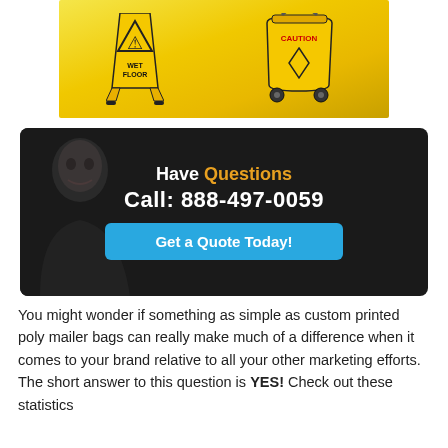[Figure (photo): Yellow wet floor caution sign and yellow mop bucket on a reflective floor surface]
[Figure (infographic): Dark banner with a man in black background on the left. Text reads 'Have Questions Call: 888-497-0059' with a blue 'Get a Quote Today!' button]
You might wonder if something as simple as custom printed poly mailer bags can really make much of a difference when it comes to your brand relative to all your other marketing efforts. The short answer to this question is YES! Check out these statistics